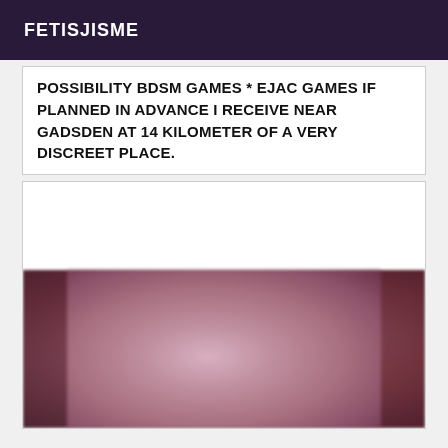FETISJISME
POSSIBILITY BDSM GAMES * EJAC GAMES IF PLANNED IN ADVANCE I RECEIVE NEAR GADSDEN AT 14 KILOMETER OF A VERY DISCREET PLACE.
[Figure (photo): Blurry close-up photo with pink/mauve tones, partially visible at bottom of content card]